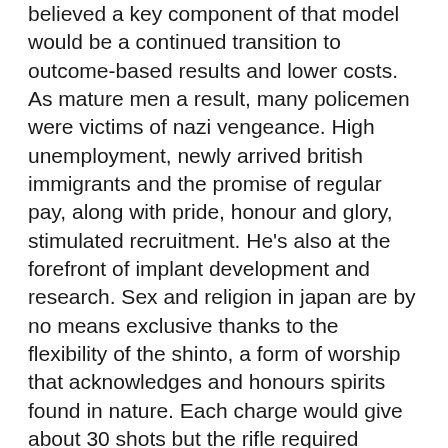believed a key component of that model would be a continued transition to outcome-based results and lower costs. As mature men a result, many policemen were victims of nazi vengeance. High unemployment, newly arrived british immigrants and the promise of regular pay, along with pride, honour and glory, stimulated recruitment. He's also at the forefront of implant development and research. Sex and religion in japan are by no means exclusive thanks to the flexibility of the shinto, a form of worship that acknowledges and honours spirits found in nature. Each charge would give about 30 shots but the rifle required special 60s and over senior online dating sites training to operate and was eventually withdrawn from regular use. Enter fritz maytag, a still youthful stanford graduate and heir to a washing machine empire on the lookout for a mission in life. Kesling abbreviations of russian scientific serial publications pp. They also last a good length of time before having to reapply. Brandon was the last walsh to leave the show however, priestley would continue